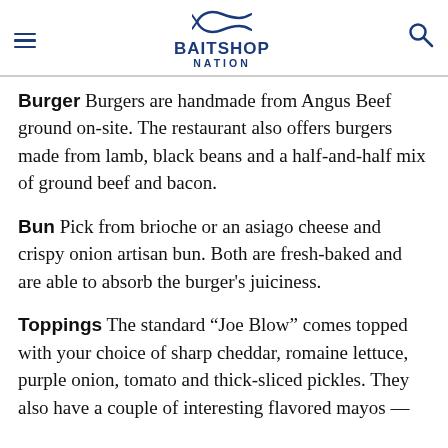BAITSHOP NATION
Burger  Burgers are handmade from Angus Beef ground on-site. The restaurant also offers burgers made from lamb, black beans and a half-and-half mix of ground beef and bacon.
Bun  Pick from brioche or an asiago cheese and crispy onion artisan bun. Both are fresh-baked and are able to absorb the burger’s juiciness.
Toppings  The standard “Joe Blow” comes topped with your choice of sharp cheddar, romaine lettuce, purple onion, tomato and thick-sliced pickles. They also have a couple of interesting flavored mayos —